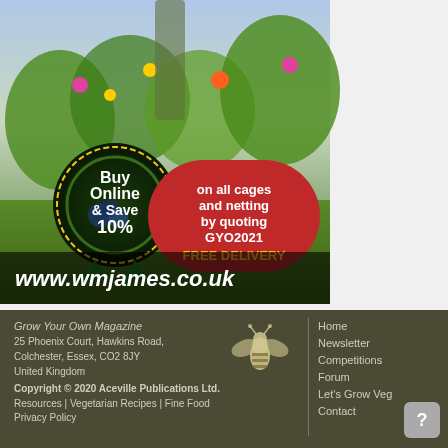[Figure (photo): Advertisement for wmjames.co.uk showing a garden scene with a person tending plants. Features a badge saying 'Buy Online & Save 10%', a red pill-shaped banner reading 'on all cages and netting by quoting GYO2021 FREE DELIVERY', and website URL www.wmjames.co.uk at the bottom.]
Grow Your Own Magazine
25 Phoenix Court, Hawkins Road,
Colchester, Essex, CO2 8JY
United Kingdom
Copyright © 2020 Aceville Publications Ltd.
Resources | Vegetarian Recipes | Fine Food
Privacy Policy
Home
Newsletter
Competitions
Forum
Let's Grow Veg
Contact